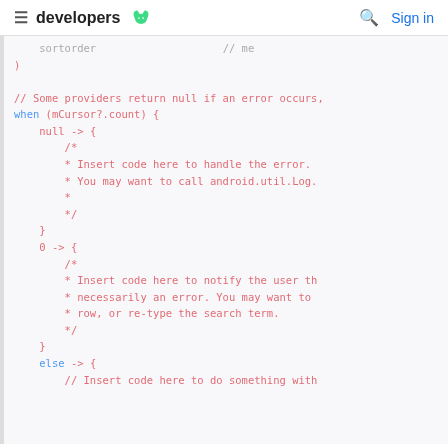≡  developers 🤖   🔍  Sign in
Code block showing Kotlin/Android code with when expression handling mCursor?.count cases including null, 0, and else branches